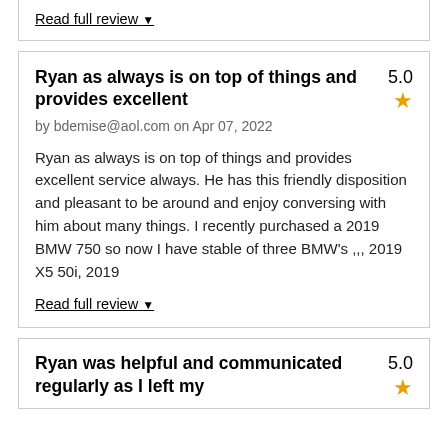Read full review ▼
Ryan as always is on top of things and provides excellent
5.0
by bdemise@aol.com on Apr 07, 2022
Ryan as always is on top of things and provides excellent service always. He has this friendly disposition and pleasant to be around and enjoy conversing with him about many things. I recently purchased a 2019 BMW 750 so now I have stable of three BMW's ,,, 2019 X5 50i, 2019
Read full review ▼
Ryan was helpful and communicated regularly as I left my
5.0